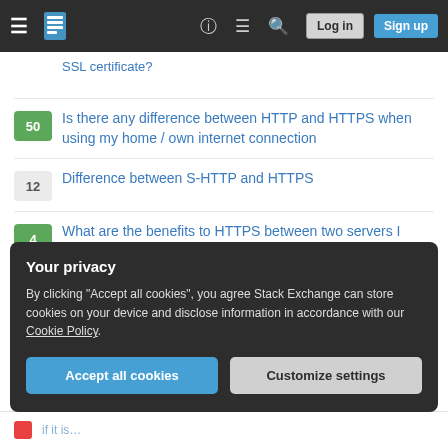Stack Exchange navigation bar with Log in and Sign up buttons
What is the difference between http and https when you configure SSL certificate?
50 — Is there any difference between HTTP and HTTPS when using my home / own internet connection
12 — Difference between S-HTTP and HTTPS
4 — What are the benefits to HTTPS between two servers I control?
21 — The difference between Subject Key Identifier and sha1Fingerprint in X509 Certificates
Hot Network Questions
What is the meaning and use of "h"?
Your privacy
By clicking "Accept all cookies", you agree Stack Exchange can store cookies on your device and disclose information in accordance with our Cookie Policy.
Accept all cookies   Customize settings